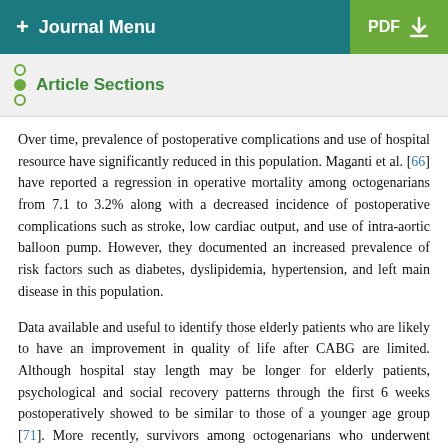+ Journal Menu | PDF
Article Sections
Over time, prevalence of postoperative complications and use of hospital resource have significantly reduced in this population. Maganti et al. [66] have reported a regression in operative mortality among octogenarians from 7.1 to 3.2% along with a decreased incidence of postoperative complications such as stroke, low cardiac output, and use of intra-aortic balloon pump. However, they documented an increased prevalence of risk factors such as diabetes, dyslipidemia, hypertension, and left main disease in this population.
Data available and useful to identify those elderly patients who are likely to have an improvement in quality of life after CABG are limited. Although hospital stay length may be longer for elderly patients, psychological and social recovery patterns through the first 6 weeks postoperatively showed to be similar to those of a younger age group [71]. More recently, survivors among octogenarians who underwent isolated CABG reported to have an excellent quality of life for up to 5 years after surgery